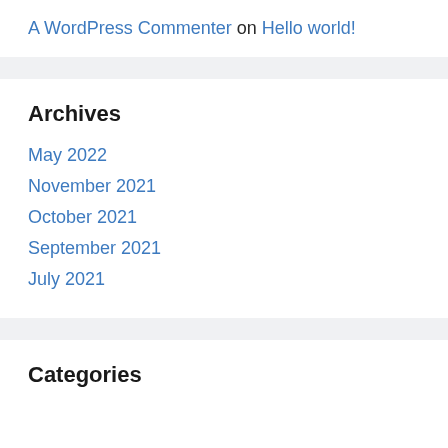A WordPress Commenter on Hello world!
Archives
May 2022
November 2021
October 2021
September 2021
July 2021
Categories